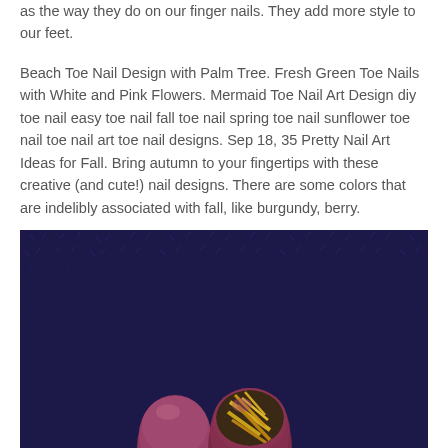as the way they do on our finger nails. They add more style to our feet.
Beach Toe Nail Design with Palm Tree. Fresh Green Toe Nails with White and Pink Flowers. Mermaid Toe Nail Art Design diy toe nail easy toe nail fall toe nail spring toe nail sunflower toe nail toe nail art toe nail designs. Sep 18, 35 Pretty Nail Art Ideas for Fall. Bring autumn to your fingertips with these creative (and cute!) nail designs. There are some colors that are indelibly associated with fall, like burgundy, berry.
[Figure (photo): Photo of feet/toes with dark burgundy nail polish on a dark blue carpet. The larger toe on the right has a gold zebra stripe nail art design.]